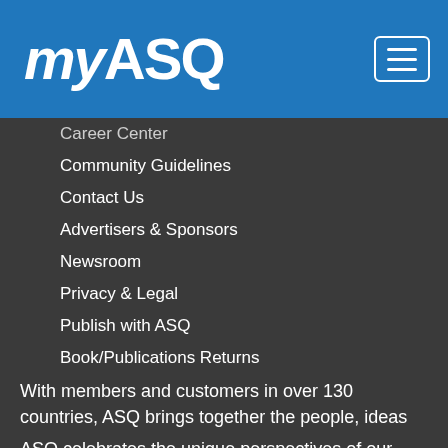[Figure (logo): myASQ logo in white on blue background header bar]
Career Center
Community Guidelines
Contact Us
Advertisers & Sponsors
Newsroom
Privacy & Legal
Publish with ASQ
Book/Publications Returns
Course Cancelations/Refunds
Site Map
With members and customers in over 130 countries, ASQ brings together the people, ideas and tools that make our world work better.
ASQ celebrates the unique perspectives of our